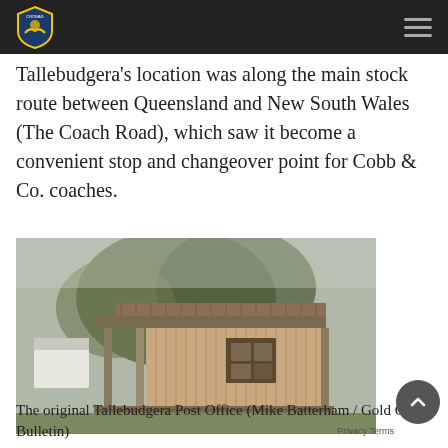[Navigation bar with logo and menu icon]
Tallebudgera's location was along the main stock route between Queensland and New South Wales (The Coach Road), which saw it become a convenient stop and changeover point for Cobb & Co. coaches.
[Figure (photo): A weathered old wooden building with a corrugated iron roof and a covered front porch, surrounded by trees. In the background, a white house is visible. This is the original Tallebudgera Post Office.]
The original Tallebudgera Post Office (Mike Batterham / Gold Coast Bulletin)